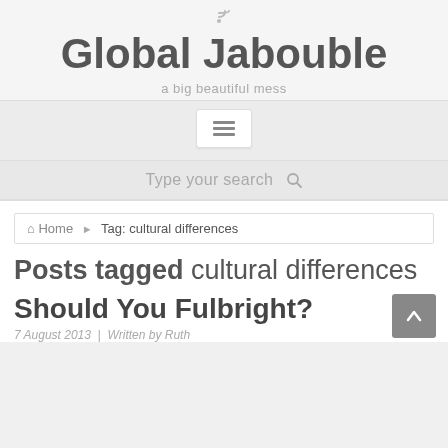Global Jabouble — a big beautiful mess
Type your search
Home › Tag: cultural differences
Posts tagged cultural differences
Should You Fulbright?
7 August 2013 | Written by Ruth